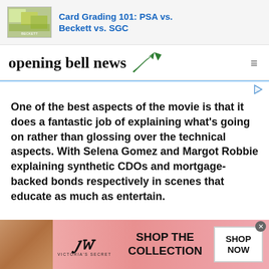[Figure (screenshot): Top advertisement banner showing trading card images with text 'Card Grading 101: PSA vs. Beckett vs. SGC' in blue]
opening bell news
[Figure (other): Small ad area with blue border and play/ad icon on right]
One of the best aspects of the movie is that it does a fantastic job of explaining what's going on rather than glossing over the technical aspects. With Selena Gomez and Margot Robbie explaining synthetic CDOs and mortgage-backed bonds respectively in scenes that educate as much as entertain.
[Figure (photo): Victoria's Secret advertisement banner showing model, VS logo, 'SHOP THE COLLECTION' text, and 'SHOP NOW' button]